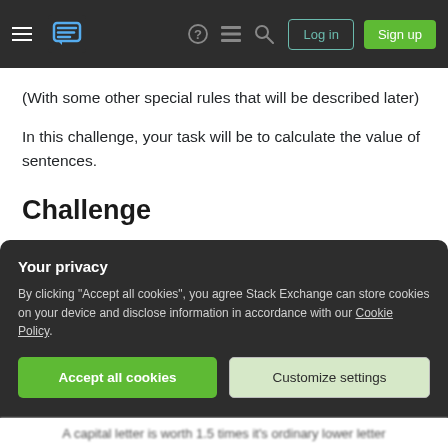Stack Exchange navigation bar with logo, icons, Log in and Sign up buttons
(With some other special rules that will be described later)
In this challenge, your task will be to calculate the value of sentences.
Challenge
You will take an input which will be a sentence. You may assume the input has no newlines or trailing
Your privacy
By clicking "Accept all cookies", you agree Stack Exchange can store cookies on your device and disclose information in accordance with our Cookie Policy.
Accept all cookies   Customize settings
A capital letter is worth 1.5 times it's ordinary lower letter